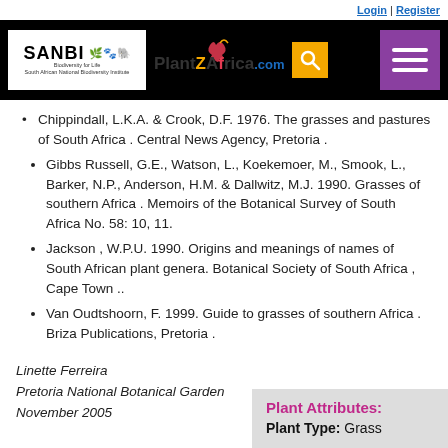Login | Register
[Figure (logo): SANBI and PlantZAfrica.com website header with search and menu buttons]
Chippindall, L.K.A. & Crook, D.F. 1976. The grasses and pastures of South Africa . Central News Agency, Pretoria .
Gibbs Russell, G.E., Watson, L., Koekemoer, M., Smook, L., Barker, N.P., Anderson, H.M. & Dallwitz, M.J. 1990. Grasses of southern Africa . Memoirs of the Botanical Survey of South Africa No. 58: 10, 11.
Jackson , W.P.U. 1990. Origins and meanings of names of South African plant genera. Botanical Society of South Africa , Cape Town ..
Van Oudtshoorn, F. 1999. Guide to grasses of southern Africa . Briza Publications, Pretoria .
Linette Ferreira
Pretoria National Botanical Garden
November 2005
| Plant Attributes: |  |
| --- | --- |
| Plant Type: | Grass |